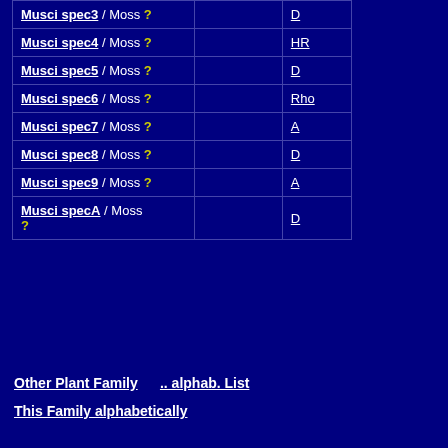| Species |  | Status |
| --- | --- | --- |
| Musci spec3 / Moss ? |  | D |
| Musci spec4 / Moss ? |  | HR |
| Musci spec5 / Moss ? |  | D |
| Musci spec6 / Moss ? |  | Rho |
| Musci spec7 / Moss ? |  | A |
| Musci spec8 / Moss ? |  | D |
| Musci spec9 / Moss ? |  | A |
| Musci specA / Moss ? |  | D |
Other Plant Family   .. alphab. List
This Family alphabetically